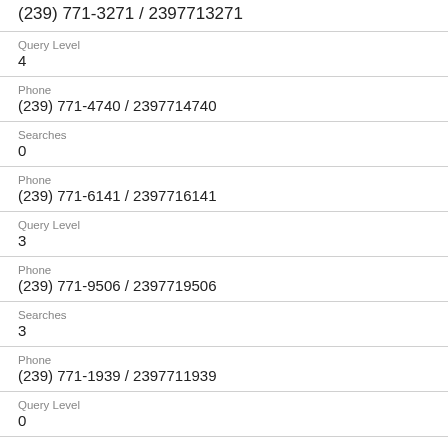(239) 771-3271 / 2397713271
Query Level
4
Phone
(239) 771-4740 / 2397714740
Searches
0
Phone
(239) 771-6141 / 2397716141
Query Level
3
Phone
(239) 771-9506 / 2397719506
Searches
3
Phone
(239) 771-1939 / 2397711939
Query Level
0